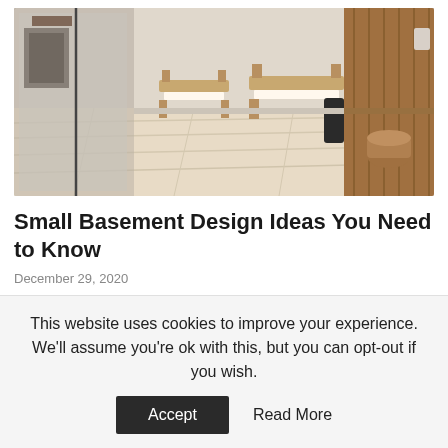[Figure (photo): Interior room with light wood flooring, two wooden bench seats with white cushions, mirrored wall on the left, wood-paneled wall on the right, and a wicker basket near the wall]
Small Basement Design Ideas You Need to Know
December 29, 2020
[Figure (photo): Partial view of a second article image with warm golden/yellow tones]
This website uses cookies to improve your experience. We'll assume you're ok with this, but you can opt-out if you wish.
Accept   Read More